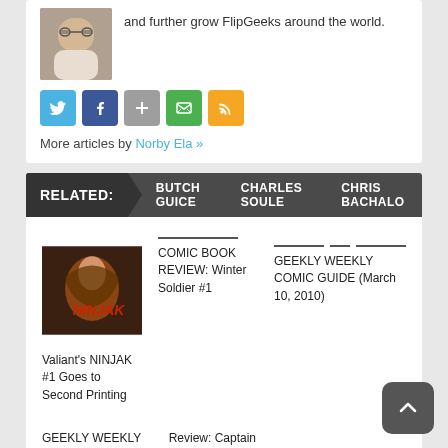and further grow FlipGeeks around the world.
[Figure (photo): Author photo: person with glasses looking down]
[Figure (infographic): Social media icon buttons: Twitter (blue), Facebook (dark blue), Google+ (grey), Email (green), RSS (orange)]
More articles by Norby Ela »
RELATED: BUTCH GUICE  CHARLES SOULE  CHRIS BACHALO
[Figure (photo): Comic book cover: Valiant's NINJAK #1 with character artwork]
Valiant's NINJAK #1 Goes to Second Printing
COMIC BOOK REVIEW: Winter Soldier #1
GEEKLY WEEKLY COMIC GUIDE (March 10, 2010)
GEEKLY WEEKLY COMIC GUIDE (Feb 24, 2011)
Review: Captain America # 609